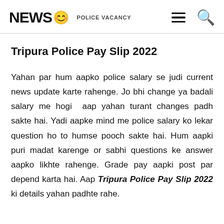NEWS 😊  POLICE VACANCY
Tripura Police Pay Slip 2022
Yahan par hum aapko police salary se judi current news update karte rahenge. Jo bhi change ya badali salary me hogi aap yahan turant changes padh sakte hai. Yadi aapke mind me police salary ko lekar question ho to humse pooch sakte hai. Hum aapki puri madat karenge or sabhi questions ke answer aapko likhte rahenge. Grade pay aapki post par depend karta hai. Aap Tripura Police Pay Slip 2022 ki details yahan padhte rahe.